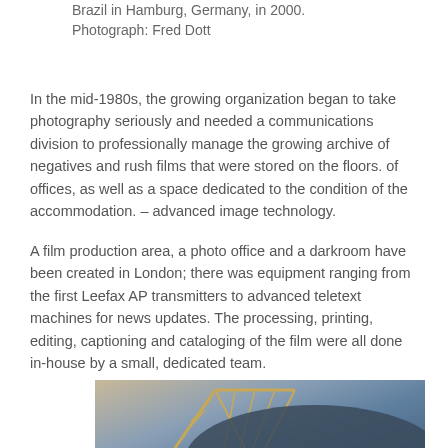Brazil in Hamburg, Germany, in 2000. Photograph: Fred Dott
In the mid-1980s, the growing organization began to take photography seriously and needed a communications division to professionally manage the growing archive of negatives and rush films that were stored on the floors. of offices, as well as a space dedicated to the condition of the accommodation. – advanced image technology.
A film production area, a photo office and a darkroom have been created in London; there was equipment ranging from the first Leefax AP transmitters to advanced teletext machines for news updates. The processing, printing, editing, captioning and cataloging of the film were all done in-house by a small, dedicated team.
[Figure (photo): Partial photograph showing a crane structure against a dark background, cropped at bottom of page]